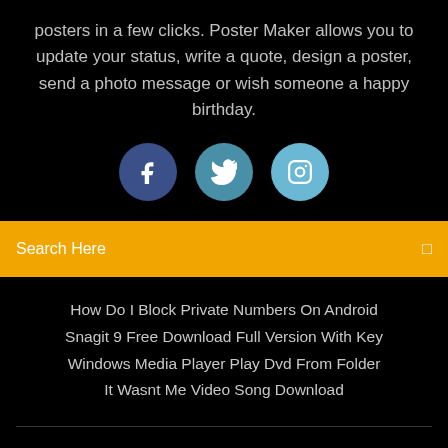posters in a few clicks. Poster Maker allows you to update your status, write a quote, design a poster, send a photo message or wish someone a happy birthday.
[Figure (illustration): Three social media icon circles: Facebook (f), Twitter (bird), Instagram (camera)]
Search Here
How Do I Block Private Numbers On Android
Snagit 9 Free Download Full Version With Key
Windows Media Player Play Dvd From Folder
It Wasnt Me Video Song Download
Copyright ©2022 All rights reserved | This template is made with ♡ by Colorlib